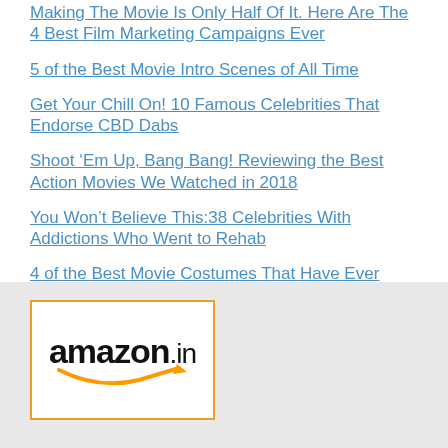Making The Movie Is Only Half Of It. Here Are The 4 Best Film Marketing Campaigns Ever
5 of the Best Movie Intro Scenes of All Time
Get Your Chill On! 10 Famous Celebrities That Endorse CBD Dabs
Shoot ‘Em Up, Bang Bang! Reviewing the Best Action Movies We Watched in 2018
You Won’t Believe This:38 Celebrities With Addictions Who Went to Rehab
4 of the Best Movie Costumes That Have Ever Graced the Silver Screen
[Figure (logo): Amazon.in logo inside an orange-bordered rectangle with a smile arrow beneath the text]